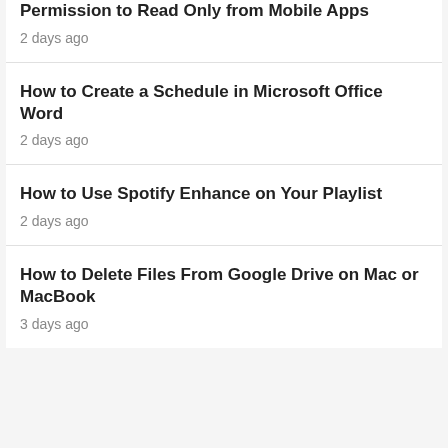Permission to Read Only from Mobile Apps
2 days ago
How to Create a Schedule in Microsoft Office Word
2 days ago
How to Use Spotify Enhance on Your Playlist
2 days ago
How to Delete Files From Google Drive on Mac or MacBook
3 days ago